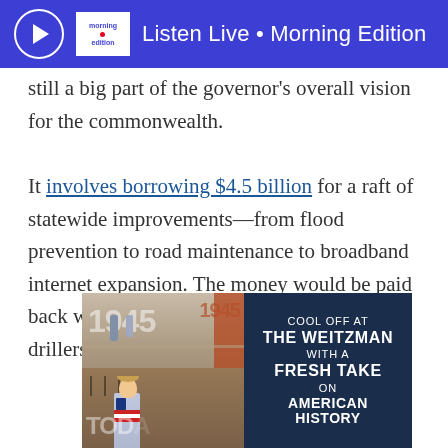Listen Live • Morning Edition
still a big part of the governor's overall vision for the commonwealth.
It involves borrowing $4.5 billion for a raft of statewide improvements—from flood prevention to road maintenance to broadband internet expansion. The money would be paid back with a new severance tax on natural gas drillers over about two decades.
[Figure (advertisement): Museum advertisement showing people in a museum interior with large numbers '1945' and 'TODAY' visible, alongside a dark blue panel reading COOL OFF AT THE WEITZMAN WITH A FRESH TAKE ON AMERICAN HISTORY]